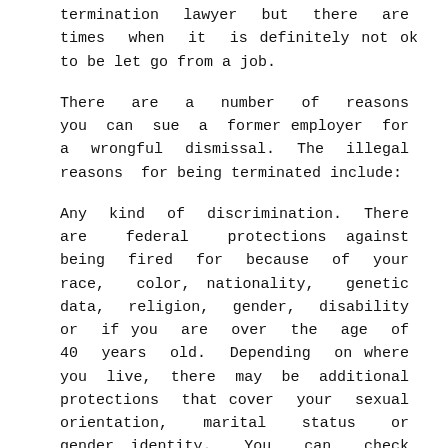termination lawyer but there are times when it is definitely not ok to be let go from a job.
There are a number of reasons you can sue a former employer for a wrongful dismissal. The illegal reasons for being terminated include:
Any kind of discrimination. There are federal protections against being fired for because of your race, color, nationality, genetic data, religion, gender, disability or if you are over the age of 40 years old. Depending on where you live, there may be additional protections that cover your sexual orientation, marital status or gender identity. You can check with a wrongful termination lawyer or your state or city government to find out about those protections and see if they apply to you.
You cannot be fired for following common public policy. There are things that you are legally allowed to do, for instance you are allowed to vote. You cannot be let go for exercising that right. If you see wrongdoing at your